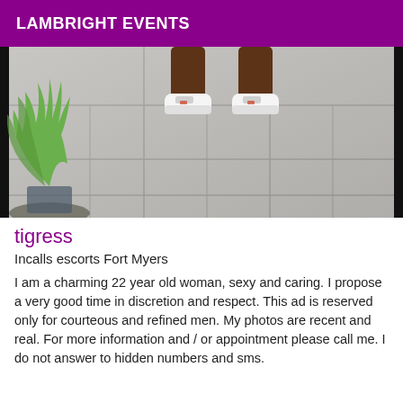LAMBRIGHT EVENTS
[Figure (photo): Photo showing legs and white sneakers of a person standing on grey tile floor with a green plant on the left side]
tigress
Incalls escorts Fort Myers
I am a charming 22 year old woman, sexy and caring. I propose a very good time in discretion and respect. This ad is reserved only for courteous and refined men. My photos are recent and real. For more information and / or appointment please call me. I do not answer to hidden numbers and sms.